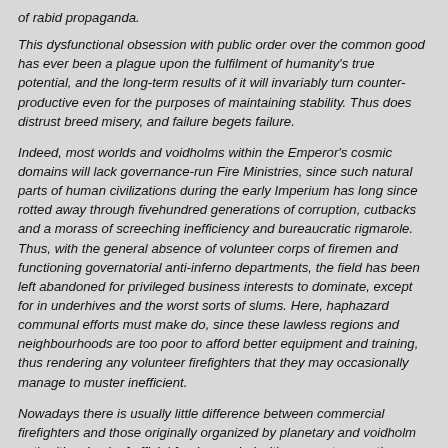of rabid propaganda.
This dysfunctional obsession with public order over the common good has ever been a plague upon the fulfilment of humanity's true potential, and the long-term results of it will invariably turn counter-productive even for the purposes of maintaining stability. Thus does distrust breed misery, and failure begets failure.
Indeed, most worlds and voidholms within the Emperor's cosmic domains will lack governance-run Fire Ministries, since such natural parts of human civilizations during the early Imperium has long since rotted away through fivehundred generations of corruption, cutbacks and a morass of screeching inefficiency and bureaucratic rigmarole. Thus, with the general absence of volunteer corps of firemen and functioning governatorial anti-inferno departments, the field has been left abandoned for privileged business interests to dominate, except for in underhives and the worst sorts of slums. Here, haphazard communal efforts must make do, since these lawless regions and neighbourhoods are too poor to afford better equipment and training, thus rendering any volunteer firefighters that they may occasionally manage to muster inefficient.
Nowadays there is usually little difference between commercial firefighters and those originally organized by planetary and voidholm authorities. Lack of official funds coupled with rampant corruption, graft and glad-handing means that such governance-founded pyrovigilos corps will